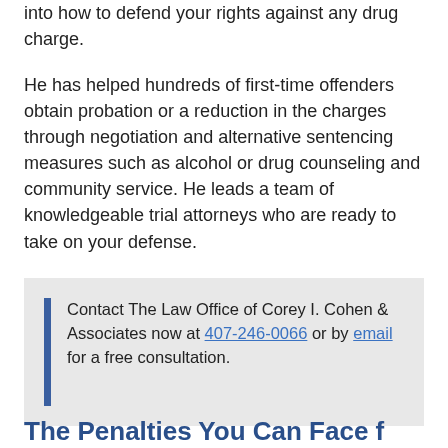into how to defend your rights against any drug charge.
He has helped hundreds of first-time offenders obtain probation or a reduction in the charges through negotiation and alternative sentencing measures such as alcohol or drug counseling and community service. He leads a team of knowledgeable trial attorneys who are ready to take on your defense.
Contact The Law Office of Corey I. Cohen & Associates now at 407-246-0066 or by email for a free consultation.
The Penalties You Can Face f...